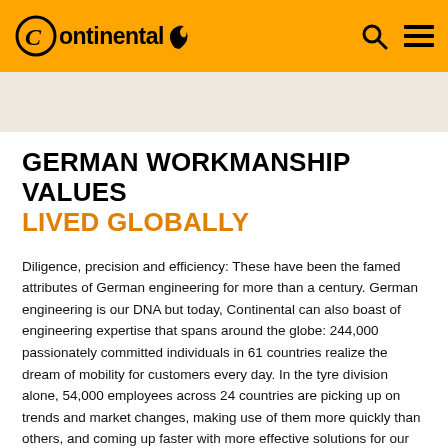Continental
GERMAN WORKMANSHIP VALUES
LIVED GLOBALLY
Diligence, precision and efficiency: These have been the famed attributes of German engineering for more than a century. German engineering is our DNA but today, Continental can also boast of engineering expertise that spans around the globe: 244,000 passionately committed individuals in 61 countries realize the dream of mobility for customers every day. In the tyre division alone, 54,000 employees across 24 countries are picking up on trends and market changes, making use of them more quickly than others, and coming up faster with more effective solutions for our customers. What unites them is a culture defined by trust and the knowledge that success has to be earned. Continental